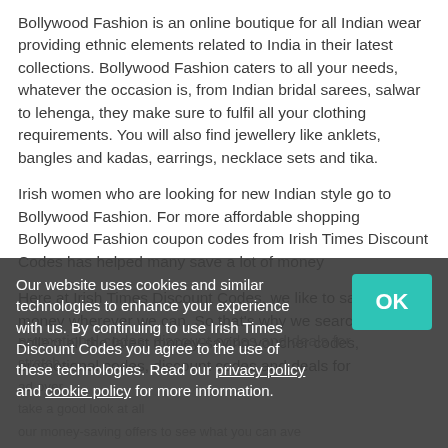Bollywood Fashion is an online boutique for all Indian wear providing ethnic elements related to India in their latest collections. Bollywood Fashion caters to all your needs, whatever the occasion is, from Indian bridal sarees, salwar to lehenga, they make sure to fulfil all your clothing requirements. You will also find jewellery like anklets, bangles and kadas, earrings, necklace sets and tika.
Irish women who are looking for new Indian style go to Bollywood Fashion. For more affordable shopping Bollywood Fashion coupon codes from Irish Times Discount Codes has helped many save a lot of money
Here at Irish Times Discount Codes, we like to save you money wherever we can. So that's why we search and collect all the latest money-saving voucher codes, promotional codes, discount codes and deals for
Our website uses cookies and similar technologies to enhance your experience with us. By continuing to use Irish Times Discount Codes you agree to the use of these technologies. Read our privacy policy and cookie policy for more information.